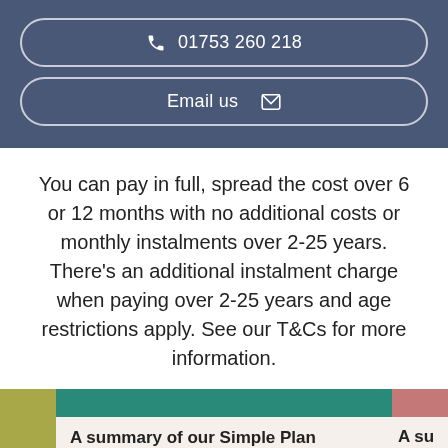01753 260 218
Email us
You can pay in full, spread the cost over 6 or 12 months with no additional costs or monthly instalments over 2-25 years. There's an additional instalment charge when paying over 2-25 years and age restrictions apply. See our T&Cs for more information.
A summary of our Simple Plan
A su